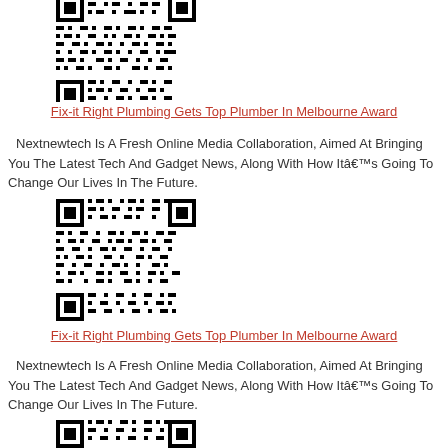[Figure (other): QR code image - first instance (partially visible at top)]
Fix-it Right Plumbing Gets Top Plumber In Melbourne Award
Nextnewtech Is A Fresh Online Media Collaboration, Aimed At Bringing You The Latest Tech And Gadget News, Along With How Itâ€™s Going To Change Our Lives In The Future.
[Figure (other): QR code image - second instance]
Fix-it Right Plumbing Gets Top Plumber In Melbourne Award
Nextnewtech Is A Fresh Online Media Collaboration, Aimed At Bringing You The Latest Tech And Gadget News, Along With How Itâ€™s Going To Change Our Lives In The Future.
[Figure (other): QR code image - third instance (partially visible at bottom)]